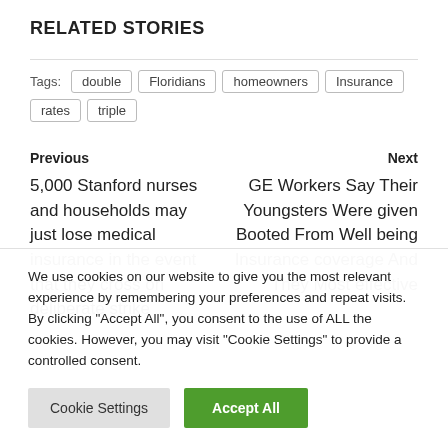RELATED STORIES
Tags: double  Floridians  homeowners  Insurance  rates  triple
Previous
5,000 Stanford nurses and households may just lose medical insurance in the event that they cross on deliberate strike
Next
GE Workers Say Their Youngsters Were given Booted From Well being Insurance coverage And They Most effective
We use cookies on our website to give you the most relevant experience by remembering your preferences and repeat visits. By clicking "Accept All", you consent to the use of ALL the cookies. However, you may visit "Cookie Settings" to provide a controlled consent.
Cookie Settings  Accept All